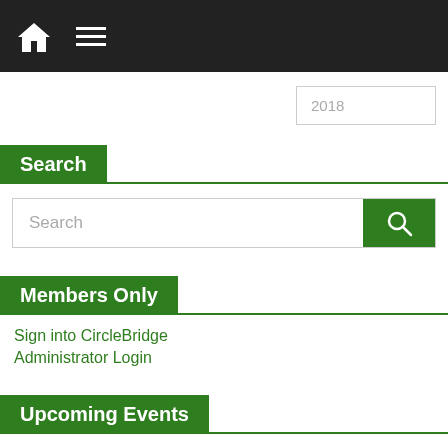Navigation bar with home icon and menu icon
2018
Search
Search
Members Only
Sign into CircleBridge
Administrator Login
Upcoming Events